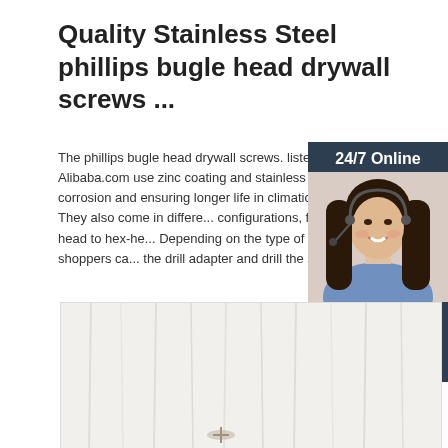Quality Stainless Steel phillips bugle head drywall screws ...
The phillips bugle head drywall screws. listed on Alibaba.com use zinc coating and stainless s... prevent corrosion and ensuring longer life in climatic conditions. They also come in differe... configurations, from Philips's head to hex-he... Depending on the type of head, shoppers ca... the drill adapter and drill the screw ...
[Figure (photo): Customer service representative widget with '24/7 Online' header, photo of smiling woman with headset, 'Click here for free chat!' text, and orange QUOTATION button]
[Figure (photo): Bottom image showing drywall screws product photo on light wood grain background]